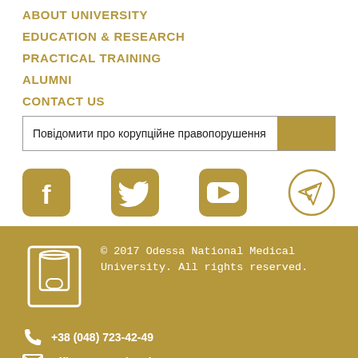ABOUT UNIVERSITY
EDUCATION & RESEARCH
PRACTICAL TRAINING
ALUMNI
CONTACT US
Повідомити про корупційне правопорушення
[Figure (other): Social media icons: Facebook, Twitter, YouTube, Telegram]
[Figure (logo): Odessa National Medical University logo (white cylinder/flask icon on gold background)]
© 2017 Odessa National Medical University. All rights reserved.
+38 (048) 723-42-49
office@onmedu.edu.ua